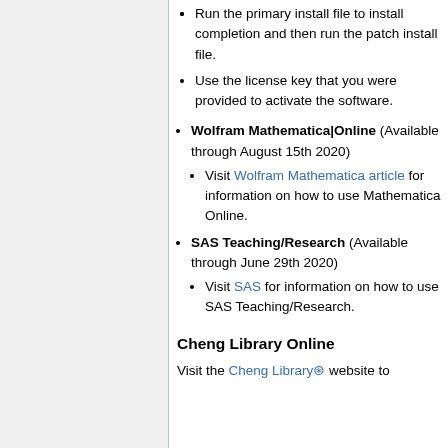Run the primary install file to install completion and then run the patch install file.
Use the license key that you were provided to activate the software.
Wolfram Mathematica|Online (Available through August 15th 2020)
Visit Wolfram Mathematica article for information on how to use Mathematica Online.
SAS Teaching/Research (Available through June 29th 2020)
Visit SAS for information on how to use SAS Teaching/Research.
Cheng Library Online
Visit the Cheng Library website to